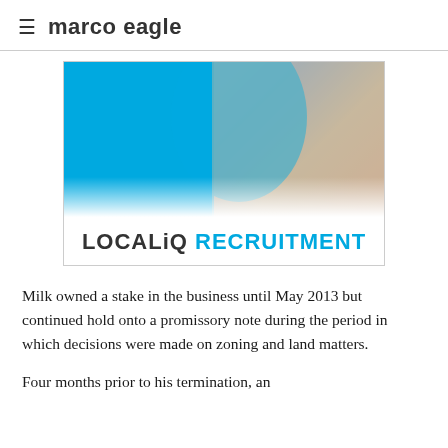≡ marco eagle
[Figure (illustration): LOCALiQ Recruitment advertisement banner. Left half is solid blue background, right half shows people working around a laptop. Blue silhouette shape overlaid. Bottom white area shows bold text: LOCALiQ RECRUITMENT]
Milk owned a stake in the business until May 2013 but continued hold onto a promissory note during the period in which decisions were made on zoning and land matters.
Four months prior to his termination, an